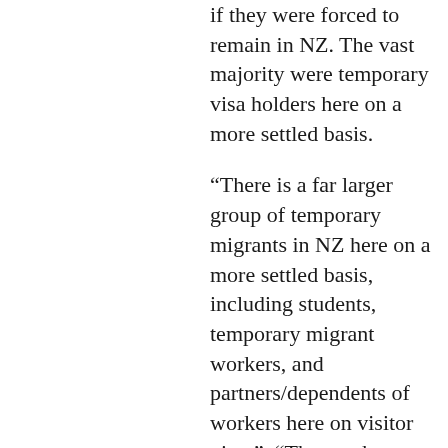if they were forced to remain in NZ. The vast majority were temporary visa holders here on a more settled basis.
“There is a far larger group of temporary migrants in NZ here on a more settled basis, including students, temporary migrant workers, and partners/dependents of workers here on visitor visas”. “They make up the bulk of the 383,000 visa holders. “They had planned to remain in New Zealand for an extended period of months or years.